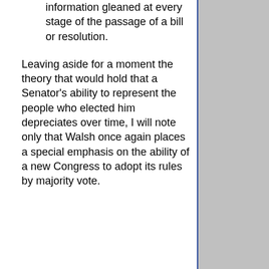information gleaned at every stage of the passage of a bill or resolution.
Leaving aside for a moment the theory that would hold that a Senator's ability to represent the people who elected him depreciates over time, I will note only that Walsh once again places a special emphasis on the ability of a new Congress to adopt its rules by majority vote.